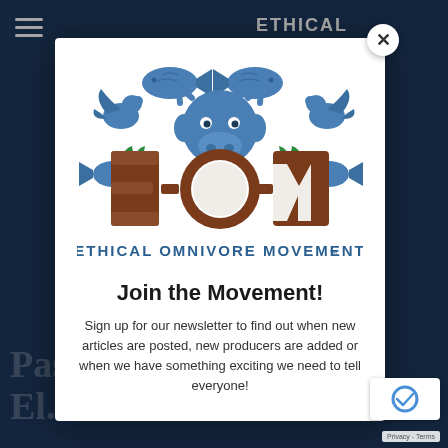[Figure (logo): Ethical Omnivore Movement (EOM) logo featuring a cow head, birds, fish, and the text 'EOM' in brown rustic letters with 'ETHICAL OMNIVORE MOVEMENT' below in blue capital letters]
Join the Movement!
Sign up for our newsletter to find out when new articles are posted, new producers are added or when we have something exciting we need to tell everyone!